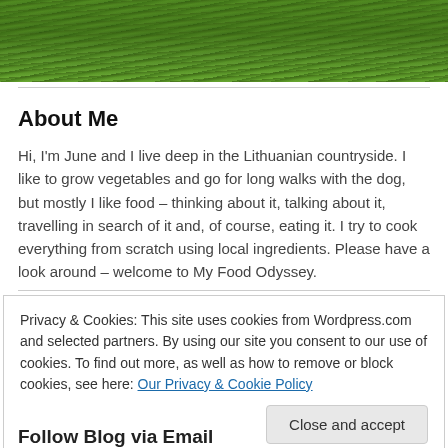[Figure (photo): Green grass and vegetation growing in a field, photographed from close up. The image is cropped at the top of the page.]
About Me
Hi, I'm June and I live deep in the Lithuanian countryside. I like to grow vegetables and go for long walks with the dog, but mostly I like food – thinking about it, talking about it, travelling in search of it and, of course, eating it. I try to cook everything from scratch using local ingredients. Please have a look around – welcome to My Food Odyssey.
Privacy & Cookies: This site uses cookies from Wordpress.com and selected partners. By using our site you consent to our use of cookies. To find out more, as well as how to remove or block cookies, see here: Our Privacy & Cookie Policy
Follow Blog via Email